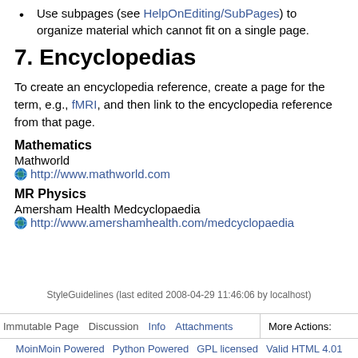Use subpages (see HelpOnEditing/SubPages) to organize material which cannot fit on a single page.
7. Encyclopedias
To create an encyclopedia reference, create a page for the term, e.g., fMRI, and then link to the encyclopedia reference from that page.
Mathematics
Mathworld
http://www.mathworld.com
MR Physics
Amersham Health Medcyclopaedia
http://www.amershamhealth.com/medcyclopaedia
StyleGuidelines (last edited 2008-04-29 11:46:06 by localhost)
Immutable Page   Discussion   Info   Attachments   More Actions:
MoinMoin Powered   Python Powered   GPL licensed   Valid HTML 4.01